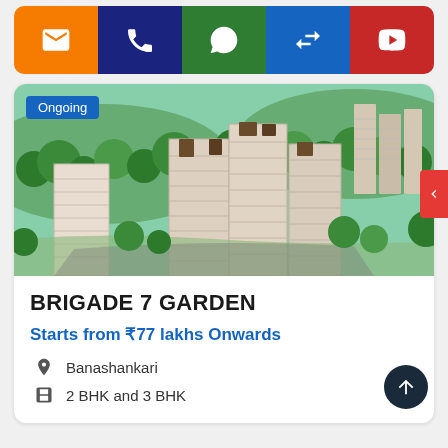[Figure (other): Top navigation/contact icon bar with email (orange), phone (navy), WhatsApp (green), compare (blue), YouTube (red) buttons]
[Figure (photo): Aerial rendering of Brigade 7 Garden residential towers surrounded by green trees, with 'Ongoing' badge in top-left]
BRIGADE 7 GARDEN
Starts from ₹77 lakhs Onwards
Banashankari
2 BHK and 3 BHK